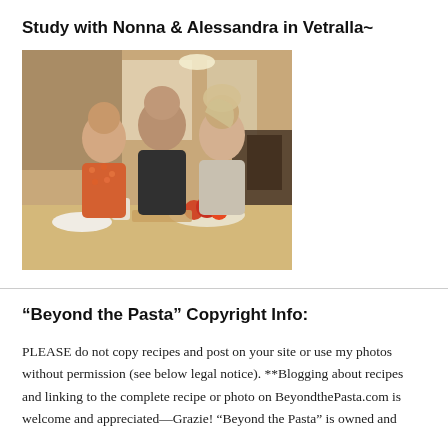Study with Nonna & Alessandra in Vetralla~
[Figure (photo): Three people standing together in a kitchen — an older woman on the left in a floral blouse, a bald man in a dark shirt in the center, and a woman with light hair on the right. A counter with bowls, a fruit bowl, and kitchen items is visible in the foreground. Windows and kitchen cabinetry are in the background.]
“Beyond the Pasta” Copyright Info:
PLEASE do not copy recipes and post on your site or use my photos without permission (see below legal notice). **Blogging about recipes and linking to the complete recipe or photo on BeyondthePasta.com is welcome and appreciated—Grazie! “Beyond the Pasta” is owned and